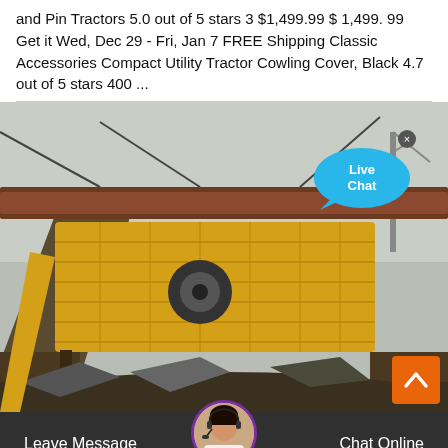and Pin Tractors 5.0 out of 5 stars 3 $1,499.99 $ 1,499. 99 Get it Wed, Dec 29 - Fri, Jan 7 FREE Shipping Classic Accessories Compact Utility Tractor Cowling Cover, Black 4.7 out of 5 stars 400 ...
[Figure (photo): Industrial vibrating screen / mining equipment on a construction or industrial site. A large yellow vibrating screen machine is mounted on a steel frame structure. A blue speech bubble with 'Live Chat' text is overlaid in the top-right corner. An orange back-to-top button with a caret/arrow is in the bottom-right corner.]
Leave Message   Chat Online